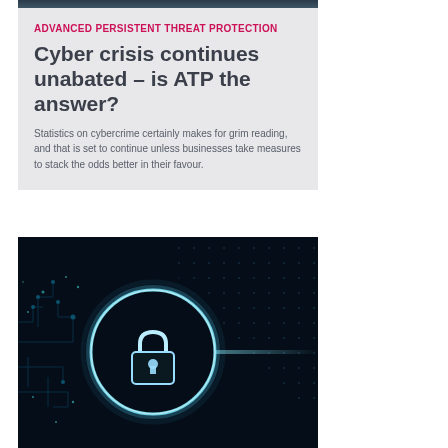[Figure (photo): Dark cybersecurity themed image at the top of the card]
ADVANCED PERSISTENT THREAT PROTECTION
Cyber crisis continues unabated – is ATP the answer?
Statistics on cybercrime certainly makes for grim reading, and that is set to continue unless businesses take measures to stack the odds better in their favour.
[Figure (photo): Dark digital security illustration showing a glowing padlock with circuit board and grid patterns on a dark background]